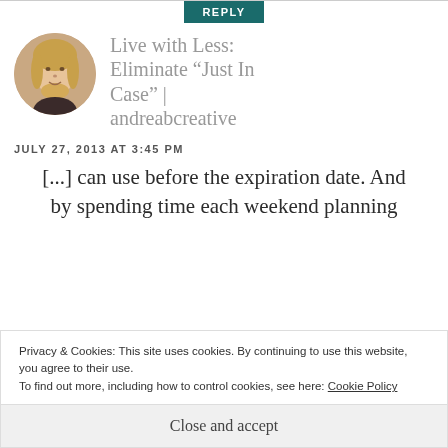REPLY
Live with Less: Eliminate “Just In Case” | andreabcreative
JULY 27, 2013 AT 3:45 PM
[...] can use before the expiration date. And by spending time each weekend planning
Privacy & Cookies: This site uses cookies. By continuing to use this website, you agree to their use.
To find out more, including how to control cookies, see here: Cookie Policy
Close and accept